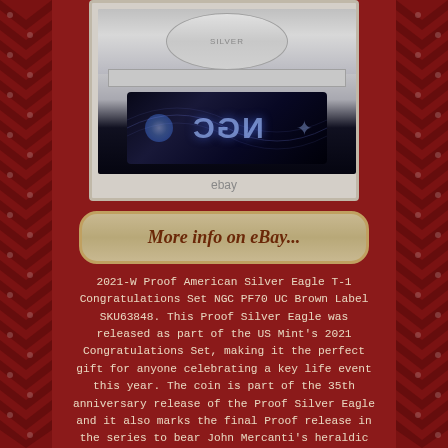[Figure (photo): NGC graded coin slab showing an American Silver Eagle proof coin, with black NGC holographic label visible. eBay watermark at bottom of image.]
More info on eBay...
2021-W Proof American Silver Eagle T-1 Congratulations Set NGC PF70 UC Brown Label SKU63848. This Proof Silver Eagle was released as part of the US Mint's 2021 Congratulations Set, making it the perfect gift for anyone celebrating a key life event this year. The coin is part of the 35th anniversary release of the Proof Silver Eagle and it also marks the final Proof release in the series to bear John Mercanti's heraldic eagle reverse design, which will be replaced mid-year. This coin was struck as part of the